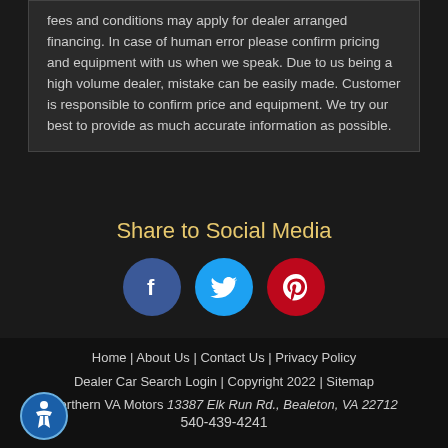fees and conditions may apply for dealer arranged financing. In case of human error please confirm pricing and equipment with us when we speak. Due to us being a high volume dealer, mistake can be easily made. Customer is responsible to confirm price and equipment. We try our best to provide as much accurate information as possible.
Share to Social Media
[Figure (infographic): Three social media icons: Facebook (blue circle with 'f'), Twitter (light blue circle with bird icon), Pinterest (dark red circle with 'p' logo)]
Home | About Us | Contact Us | Privacy Policy
Dealer Car Search Login | Copyright 2022 | Sitemap
Northern VA Motors 13387 Elk Run Rd., Bealeton, VA 22712
540-439-4241